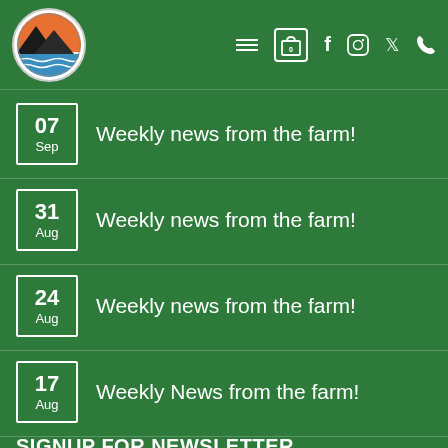[Figure (logo): Farm logo circle with landscape illustration]
07 Sep — Weekly news from the farm!
31 Aug — Weekly news from the farm!
24 Aug — Weekly news from the farm!
17 Aug — Weekly News from the farm!
SIGNUP FOR NEWSLETTER
Sign up to receive our monthly eNewsletters
First Name